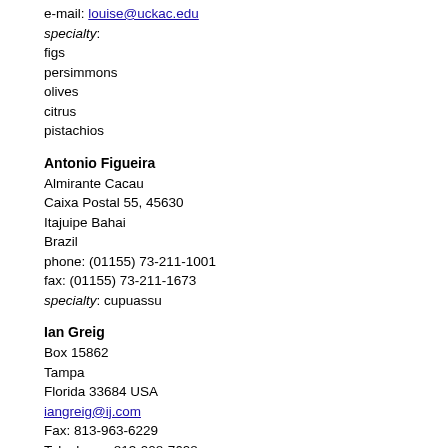e-mail: louise@uckac.edu
specialty:
figs
persimmons
olives
citrus
pistachios
Antonio Figueira
Almirante Cacau
Caixa Postal 55, 45630
Itajuipe Bahai
Brazil
phone: (01155) 73-211-1001
fax: (01155) 73-211-1673
specialty: cupuassu
Ian Greig
Box 15862
Tampa
Florida 33684 USA
iangreig@ij.com
Fax: 813-963-6229
Telephone: 813-908-7698
specialty: pineapple